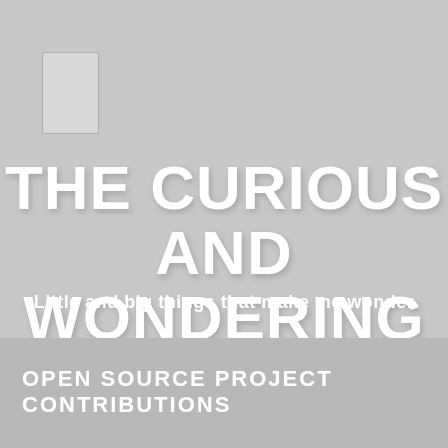[Figure (illustration): Small light gray rectangle outline in the upper-left area of the page]
THE CURIOUS AND WONDERING EYE
Little and big things that make me wonder
OPEN SOURCE PROJECT CONTRIBUTIONS